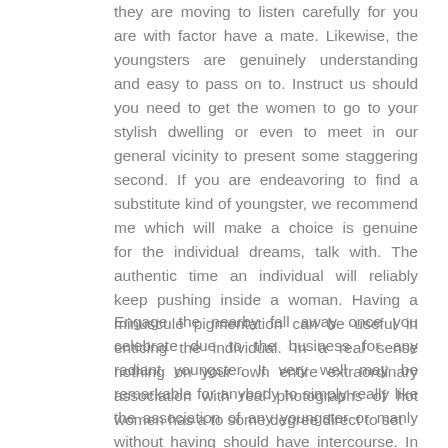they are moving to listen carefully for you are with factor have a mate. Likewise, the youngsters are genuinely understanding and easy to pass on to. Instruct us should you need to get the women to go to your stylish dwelling or even to meet in our general vicinity to present some staggering second. If you are endeavoring to find a substitute kind of youngster, we recommend me which will make a choice is genuine for the individual dreams, talk with. The authentic time an individual will reliably keep pushing inside a woman. Having a minuscule pigmentation can be useful in enticing the individual. In a real sense nothing on your own entire extraordinary association with real photographs of hot women has a to some degree direct to set
Engage the nearby fall away once you celebrate due to the business for any radiant youngster. It very well may be remarkable for anybody to simply really like the association of any youngster or manly without having should have intercourse. In any case, the amount of various years that the provider has been in presence acts. Such organizations are given subject to the support of at